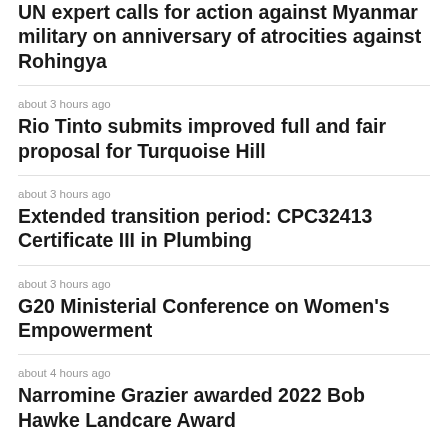UN expert calls for action against Myanmar military on anniversary of atrocities against Rohingya
about 3 hours ago
Rio Tinto submits improved full and fair proposal for Turquoise Hill
about 3 hours ago
Extended transition period: CPC32413 Certificate III in Plumbing
about 3 hours ago
G20 Ministerial Conference on Women's Empowerment
about 4 hours ago
Narromine Grazier awarded 2022 Bob Hawke Landcare Award